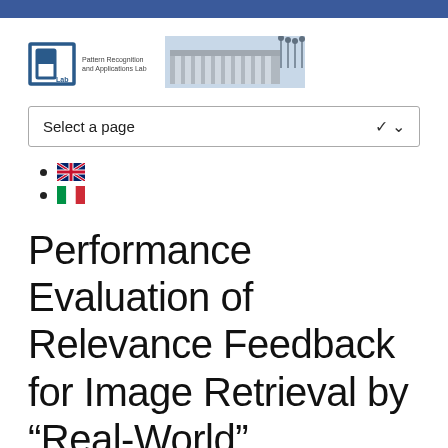[Figure (logo): PR Lab logo with building image and text Pattern Recognition and Applications Lab]
[Figure (other): Select a page dropdown UI element]
UK flag icon (English language selection)
Italian flag icon (Italian language selection)
Performance Evaluation of Relevance Feedback for Image Retrieval by “Real-World”